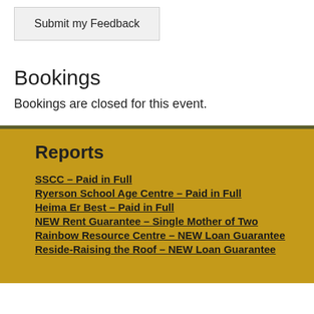Submit my Feedback
Bookings
Bookings are closed for this event.
Reports
SSCC – Paid in Full
Ryerson School Age Centre – Paid in Full
Heima Er Best – Paid in Full
NEW Rent Guarantee – Single Mother of Two
Rainbow Resource Centre – NEW Loan Guarantee
Reside-Raising the Roof – NEW Loan Guarantee